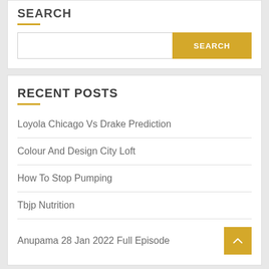SEARCH
SEARCH (button)
RECENT POSTS
Loyola Chicago Vs Drake Prediction
Colour And Design City Loft
How To Stop Pumping
Tbjp Nutrition
Anupama 28 Jan 2022 Full Episode